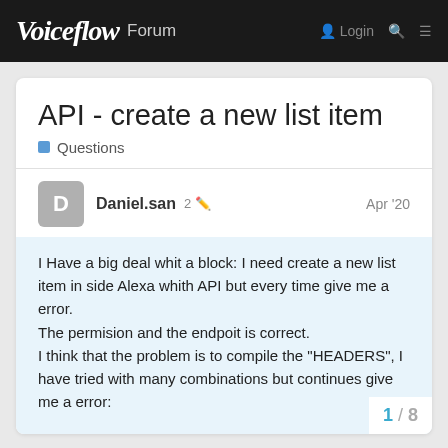Voiceflow Forum
API - create a new list item
Questions
Daniel.san  2  Apr '20
I Have a big deal whit a block: I need create a new list item in side Alexa whith API but every time give me a error.
The permision and the endpoit is correct.
I think that the problem is to compile the "HEADERS", I have tried with many combinations but continues give me a error:

"ERROR":{1 item
"message":"src property must be a object"
1 / 8